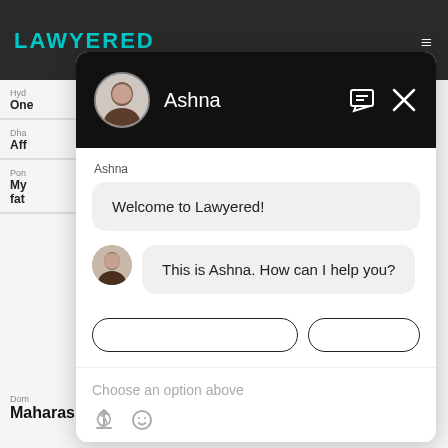[Figure (screenshot): Screenshot of Lawyered legal website with chat widget open. Background shows the Lawyered website header in dark gray with cyan logo text, and partial listing content. A chat popup overlays the page with agent Ashna's profile, showing welcome messages and an input area.]
Ashna
Welcome to Lawyered!
This is Ashna. How can I help you?
Choose an option above